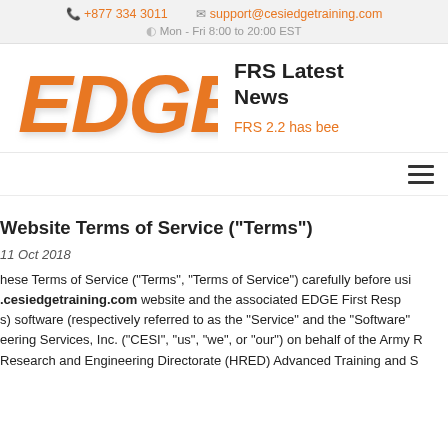+877 334 3011   support@cesiedgetraining.com   Mon - Fri 8:00 to 20:00 EST
[Figure (logo): EDGE logo in orange stylized text]
FRS Latest News
FRS 2.2 has bee
[Figure (other): Hamburger menu icon (three horizontal lines)]
Website Terms of Service ("Terms")
11 Oct 2018
These Terms of Service ("Terms", "Terms of Service") carefully before using .cesiedgetraining.com website and the associated EDGE First Resp(onder) software (respectively referred to as the "Service" and the "Software") eering Services, Inc. ("CESI", "us", "we", or "our") on behalf of the Army R(esearch and) Research and Engineering Directorate (HRED) Advanced Training and S(imulation)